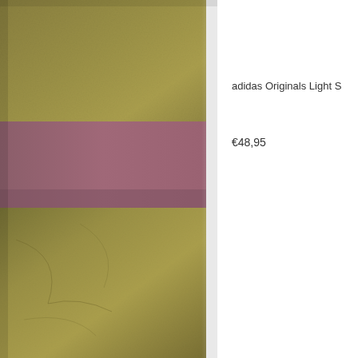[Figure (photo): Close-up product photo of an adidas Originals item showing olive/khaki leather or leather-like material with a mauve/purple-pink rectangular band or panel across the upper middle section. The item appears to be a shoe or bag shot against itself. White packaging material visible on right edge.]
adidas Originals Light S
€48,95